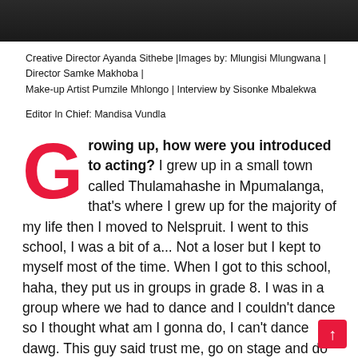[Figure (photo): Dark photograph at top of page, partial view of people or scene in dark tones]
Creative Director Ayanda Sithebe |Images by: Mlungisi Mlungwana | Director Samke Makhoba | Make-up Artist Pumzile Mhlongo | Interview by Sisonke Mbalekwa
Editor In Chief: Mandisa Vundla
Growing up, how were you introduced to acting? I grew up in a small town called Thulamahashe in Mpumalanga, that's where I grew up for the majority of my life then I moved to Nelspruit. I went to this school, I was a bit of a... Not a loser but I kept to myself most of the time. When I got to this school, haha, they put us in groups in grade 8. I was in a group where we had to dance and I couldn't dance so I thought what am I gonna do, I can't dance dawg. This guy said trust me, go on stage and do these moves and he showed me like a couple of moves and from that moment I became like the dancer guy. I ran with it and I killed it with those moves and I started wanting to learn more. I went to youtube to learn how to do different moves